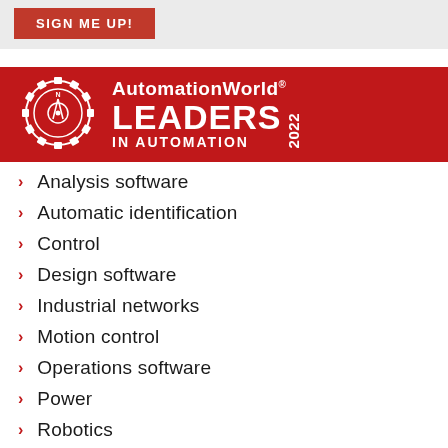[Figure (illustration): SIGN ME UP! button on a grey banner background]
[Figure (logo): AutomationWorld Leaders in Automation 2022 logo on red background with gear/compass icon]
Analysis software
Automatic identification
Control
Design software
Industrial networks
Motion control
Operations software
Power
Robotics